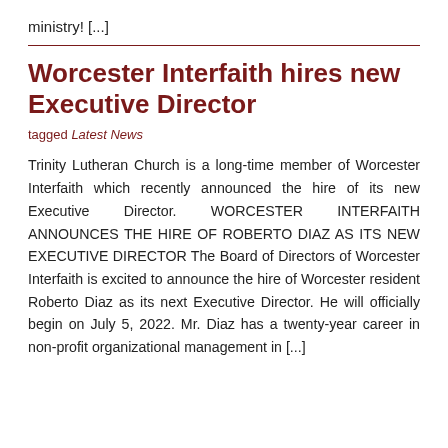ministry! [...]
Worcester Interfaith hires new Executive Director
tagged Latest News
Trinity Lutheran Church is a long-time member of Worcester Interfaith which recently announced the hire of its new Executive Director. WORCESTER INTERFAITH ANNOUNCES THE HIRE OF ROBERTO DIAZ AS ITS NEW EXECUTIVE DIRECTOR The Board of Directors of Worcester Interfaith is excited to announce the hire of Worcester resident Roberto Diaz as its next Executive Director. He will officially begin on July 5, 2022. Mr. Diaz has a twenty-year career in non-profit organizational management in [...]